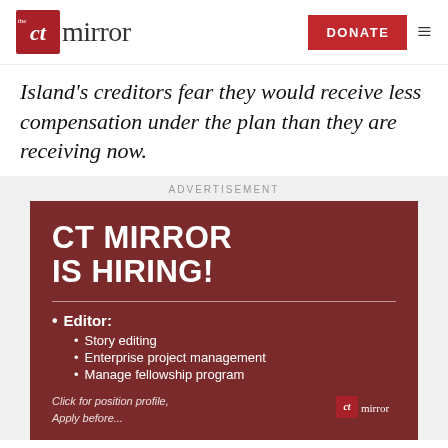the CT Mirror | DONATE
Island's creditors fear they would receive less compensation under the plan than they are receiving now.
ADVERTISEMENT
[Figure (infographic): CT Mirror Is Hiring advertisement. Dark red background with white text. Heading: CT MIRROR IS HIRING! with a horizontal divider. Bullet point: Editor: with sub-bullets: Story editing, Enterprise project management, Manage fellowship program. Footer: Click for position profile, Apply before... with CT Mirror logo.]